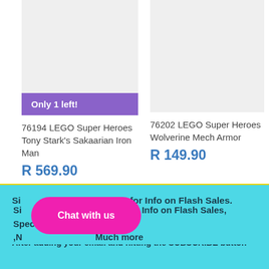[Figure (photo): Product image placeholder for LEGO Super Heroes Tony Stark's Sakaarian Iron Man (light grey background)]
Only 1 left!
76194 LEGO Super Heroes Tony Stark's Sakaarian Iron Man
R 569.90
[Figure (photo): Product image placeholder for LEGO Super Heroes Wolverine Mech Armor (light grey background)]
76202 LEGO Super Heroes Wolverine Mech Armor
R 149.90
Back to the top ^
Sign up for our newsletter for Info on Flash Sales, Specials ,New Products and Much more
After adding your email and hitting the SUBSCRIBE button
Chat with us